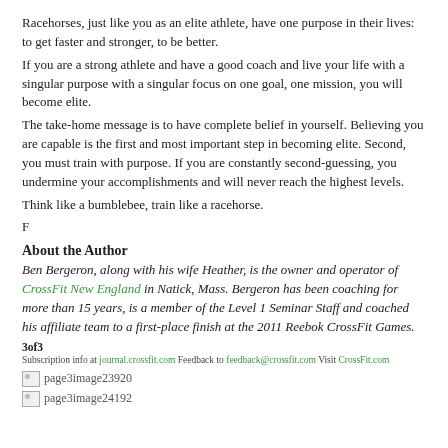Racehorses, just like you as an elite athlete, have one purpose in their lives: to get faster and stronger, to be better.
If you are a strong athlete and have a good coach and live your life with a singular purpose with a singular focus on one goal, one mission, you will become elite.
The take-home message is to have complete belief in yourself. Believing you are capable is the first and most important step in becoming elite. Second, you must train with purpose. If you are constantly second-guessing, you undermine your accomplishments and will never reach the highest levels.
Think like a bumblebee, train like a racehorse.
F
About the Author
Ben Bergeron, along with his wife Heather, is the owner and operator of CrossFit New England in Natick, Mass. Bergeron has been coaching for more than 15 years, is a member of the Level 1 Seminar Staff and coached his affiliate team to a first-place finish at the 2011 Reebok CrossFit Games.
3of3
Subscription info at journal.crossfit.com Feedback to feedback@crossfit.com Visit CrossFit.com
[Figure (other): page3image23920 — placeholder image]
[Figure (other): page3image24192 — placeholder image]